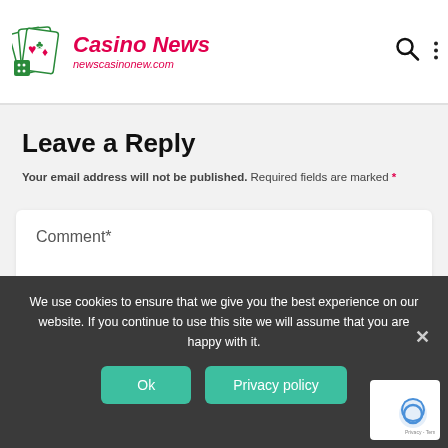Casino News — newscasinonew.com
Leave a Reply
Your email address will not be published. Required fields are marked *
Comment*
We use cookies to ensure that we give you the best experience on our website. If you continue to use this site we will assume that you are happy with it.